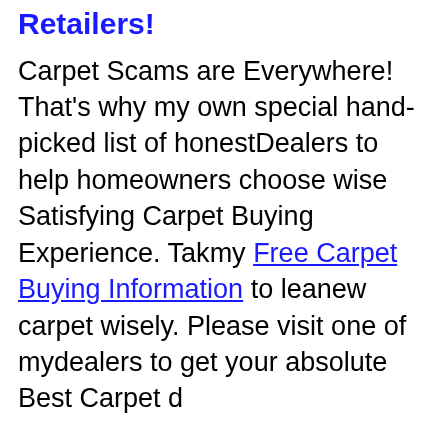Retailers!
Carpet Scams are Everywhere! That's why I have my own special hand-picked list of honest Dealers to help homeowners choose wisely for a Satisfying Carpet Buying Experience. Take my Free Carpet Buying Information to learn how to buy new carpet wisely. Please visit one of my dealers to get your absolute Best Carpet deal.
The Carpet Professor's goal is to help educate consumers about how to choose new carpet wisely. In order to make smart and informed carpet choices, consumers need to have unfettered access to accurate and complete information.